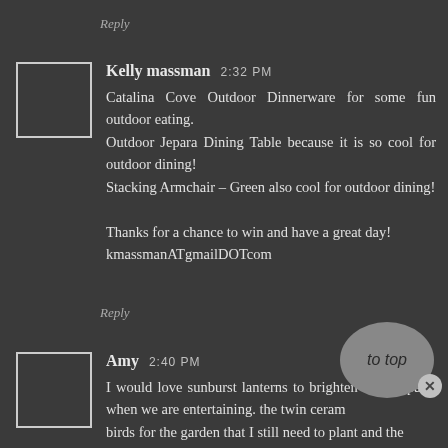Reply
Kelly massman 2:32 PM
Catalina Cove Outdoor Dinnerware for some fun outdoor eating.
Outdoor Jepara Dining Table because it is so cool for outdoor dining!
Stacking Armchair – Green also cool for outdoor dining!

Thanks for a chance to win and have a great day!
kmassmanATgmailDOTcom
Reply
Amy 2:40 PM
I would love sunburst lanterns to brighten up our patio when we are entertaining. the twin ceramic birds for the garden that I still need to plant and the